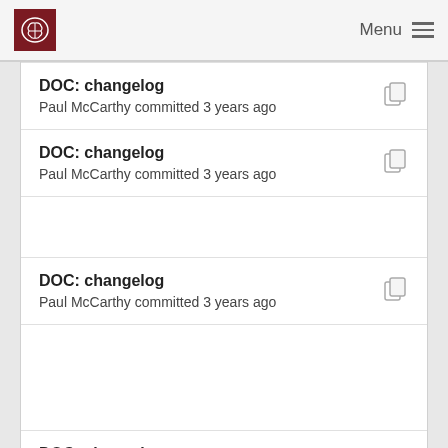Menu
DOC: changelog
Paul McCarthy committed 3 years ago
DOC: changelog
Paul McCarthy committed 3 years ago
DOC: changelog
Paul McCarthy committed 3 years ago
DOC: changelog
Paul McCarthy committed 3 years ago